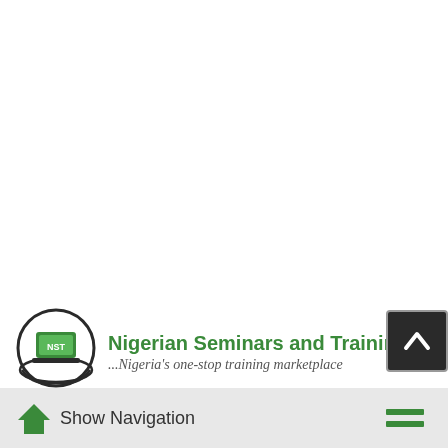[Figure (logo): Nigerian Seminars and Trainings logo with circular icon showing a laptop on a hand, green bold company name, and italic tagline '...Nigeria's one-stop training marketplace']
[Figure (other): Dark scroll-to-top button with white upward chevron arrow]
Show Navigation